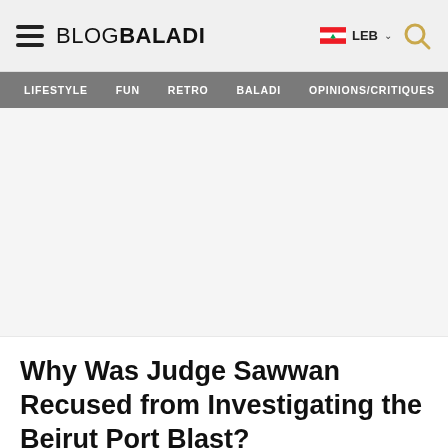BLOG BALADI — LEB
LIFESTYLE  FUN  RETRO  BALADI  OPINIONS/CRITIQUES
[Figure (photo): Hero image area — blank/white placeholder for article image]
Why Was Judge Sawwan Recused from Investigating the Beirut Port Blast?